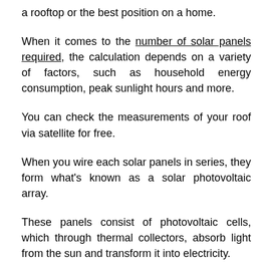a rooftop or the best position on a home.
When it comes to the number of solar panels required, the calculation depends on a variety of factors, such as household energy consumption, peak sunlight hours and more.
You can check the measurements of your roof via satellite for free.
When you wire each solar panels in series, they form what's known as a solar photovoltaic array.
These panels consist of photovoltaic cells, which through thermal collectors, absorb light from the sun and transform it into electricity.